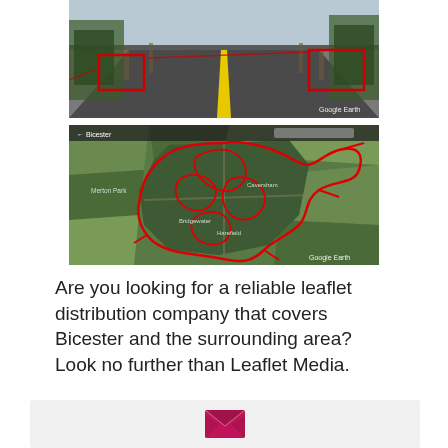[Figure (photo): Google Street View of a suburban road lined with trees, red annotations/highlights drawn on the image]
[Figure (map): Google Earth satellite aerial map with red route outlines covering Bicester town area, showing coverage zones for leaflet distribution]
Are you looking for a reliable leaflet distribution company that covers Bicester and the surrounding area? Look no further than Leaflet Media.
[Figure (other): Email/contact envelope icon in pink/magenta on a light grey background box]